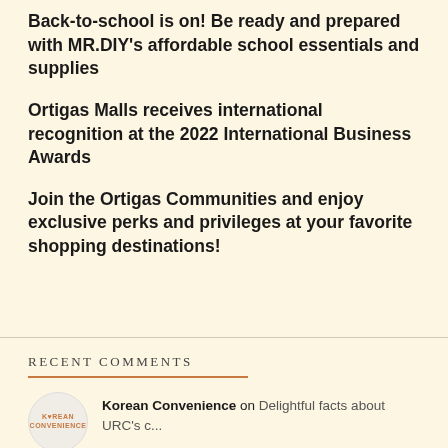Back-to-school is on! Be ready and prepared with MR.DIY's affordable school essentials and supplies
Ortigas Malls receives international recognition at the 2022 International Business Awards
Join the Ortigas Communities and enjoy exclusive perks and privileges at your favorite shopping destinations!
RECENT COMMENTS
Korean Convenience on Delightful facts about URC's c...
makeupstyles70 on 'Legal Wives' star...